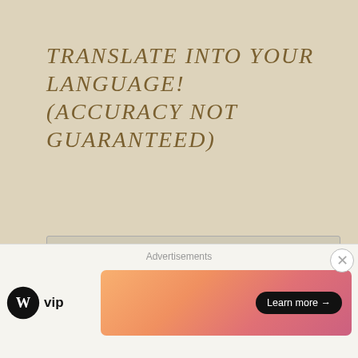TRANSLATE INTO YOUR LANGUAGE! (ACCURACY NOT GUARANTEED)
[Figure (screenshot): A dropdown select box labeled 'Select Language' with a chevron arrow, styled in beige/tan, followed by 'Powered by Google Translate' text with Google logo colors]
VISITORS
[Figure (screenshot): A partially visible blue Visitors widget header]
Advertisements
[Figure (infographic): WordPress VIP logo on left, gradient orange-pink advertisement banner with 'Learn more →' button on right, with close X button in corner]